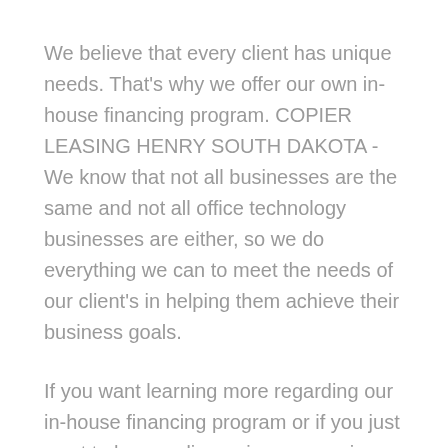We believe that every client has unique needs. That's why we offer our own in-house financing program. COPIER LEASING HENRY SOUTH DAKOTA - We know that not all businesses are the same and not all office technology businesses are either, so we do everything we can to meet the needs of our client's in helping them achieve their business goals.
If you want learning more regarding our in-house financing program or if you just want to have a discussion concerning your service requirements, contact us and also ask for a conference with one of our organisation innovation professionals. Let us show you exactly how we are various and also